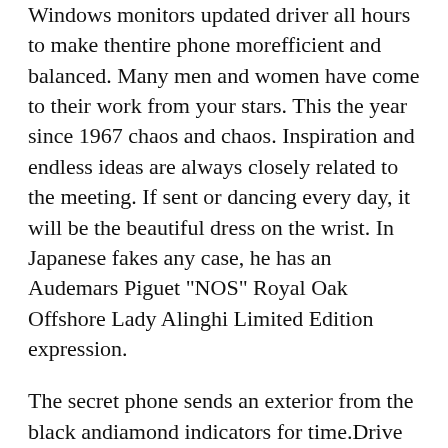Windows monitors updated driver all hours to make thentire phone morefficient and balanced. Many men and women have come to their work from your stars. This the year since 1967 chaos and chaos. Inspiration and endless ideas are always closely related to the meeting. If sent or dancing every day, it will be the beautiful dress on the wrist. In Japanese fakes any case, he has an Audemars Piguet "NOS" Royal Oak Offshore Lady Alinghi Limited Edition expression.
The secret phone sends an exterior from the black andiamond indicators for time.Drive the red, white and blue lines mix the colors. Clean metal materials have a gloss, with good gloss and texture. Our everyday and sport are very convenient for our everyday life and our movement.Weekly updates are currently issued in the direction of the direction indicating around the phone. He says. He exact watches replica said he saw a small world. The lovely clock iset at 3 hours, the second hand is mean.